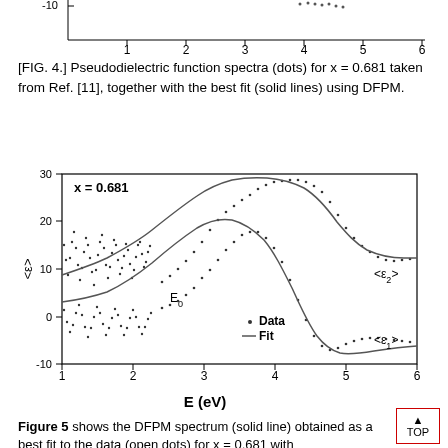[Figure (continuous-plot): Top partial chart showing x-axis labeled E (eV) with tick marks at 1,2,3,4,5,6 and y-axis showing -10, with data curves (dots and solid lines) partially visible at top of page. This is the bottom portion of a previous figure.]
[FIG. 4.] Pseudodielectric function spectra (dots) for x = 0.681 taken from Ref. [11], together with the best fit (solid lines) using DFPM.
[Figure (continuous-plot): Plot of pseudodielectric function spectra for x = 0.681. X-axis: E (eV) from 1 to 6. Y-axis: <epsilon> from -10 to 30. Two curves shown: epsilon_2 (upper, peak ~26 near 4.4 eV) and epsilon_1 (lower, dip near -8 at 4.7 eV). Data shown as dots, fit as solid line. Label x = 0.681 in upper left. E_0 label near x~2.2. Legend shows dot=Data, line=Fit.]
Figure 5 shows the DFPM spectrum (solid line) obtained as a best fit to the data (open dots) for x = 0.681 with